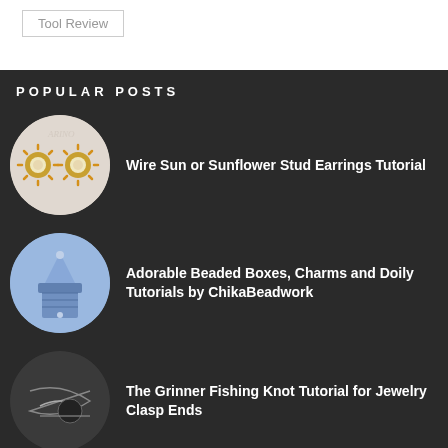Tool Review
POPULAR POSTS
[Figure (photo): Circular thumbnail of wire sun or sunflower stud earrings - gold wire earrings with pearl centers on light background]
Wire Sun or Sunflower Stud Earrings Tutorial
[Figure (photo): Circular thumbnail of blue and white beaded box with lid, decorative beadwork pattern]
Adorable Beaded Boxes, Charms and Doily Tutorials by ChikaBeadwork
[Figure (photo): Circular thumbnail showing dark background with thread/wire for fishing knot tutorial]
The Grinner Fishing Knot Tutorial for Jewelry Clasp Ends